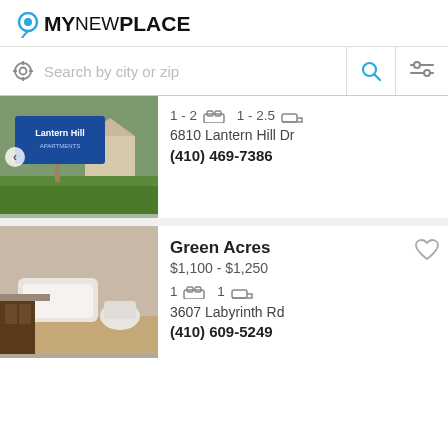MyNewPlace
Search by city or zip
[Figure (screenshot): Lantern Hill Apartments sign with exterior view, partially cropped]
1 - 2 beds  1 - 2.5 baths
6810 Lantern Hill Dr
(410) 469-7386
[Figure (photo): Bathroom interior photo showing bathtub, toilet, vanity with wood cabinets on wood-look floor]
Green Acres
$1,100 - $1,250
1 bed  1 bath
3607 Labyrinth Rd
(410) 609-5249